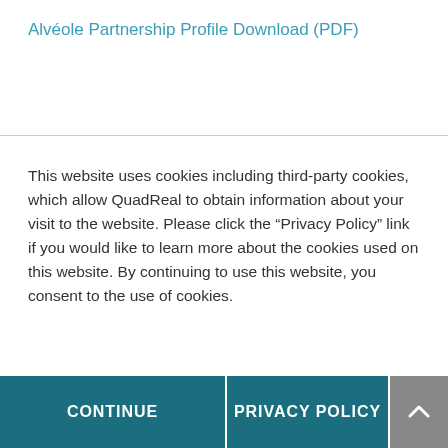Alvéole Partnership Profile Download (PDF)
This website uses cookies including third-party cookies, which allow QuadReal to obtain information about your visit to the website. Please click the “Privacy Policy” link if you would like to learn more about the cookies used on this website. By continuing to use this website, you consent to the use of cookies.
CONTINUE
PRIVACY POLICY